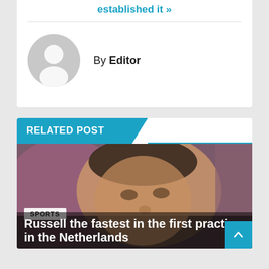established it »
[Figure (illustration): Generic grey avatar/profile circle icon representing a user]
By Editor
RELATED POST
[Figure (photo): Close-up photo of a man's face with blurred background, with SPORTS tag and article title overlay reading: Russell the fastest in the first practice in the Netherlands]